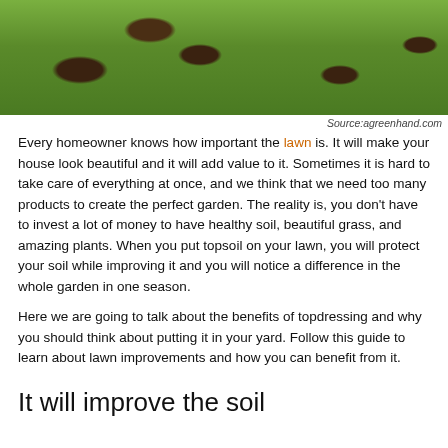[Figure (photo): Aerial view of a green lawn with several mole hills or dirt mounds scattered across the grass]
Source:agreenhand.com
Every homeowner knows how important the lawn is. It will make your house look beautiful and it will add value to it. Sometimes it is hard to take care of everything at once, and we think that we need too many products to create the perfect garden. The reality is, you don't have to invest a lot of money to have healthy soil, beautiful grass, and amazing plants. When you put topsoil on your lawn, you will protect your soil while improving it and you will notice a difference in the whole garden in one season.
Here we are going to talk about the benefits of topdressing and why you should think about putting it in your yard. Follow this guide to learn about lawn improvements and how you can benefit from it.
It will improve the soil